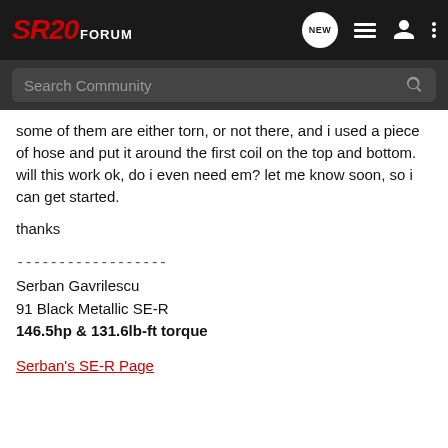SR20 FORUM
some of them are either torn, or not there, and i used a piece of hose and put it around the first coil on the top and bottom. will this work ok, do i even need em? let me know soon, so i can get started.
thanks
------------------
Serban Gavrilescu
91 Black Metallic SE-R
146.5hp & 131.6lb-ft torque
Serban's SE-R Page